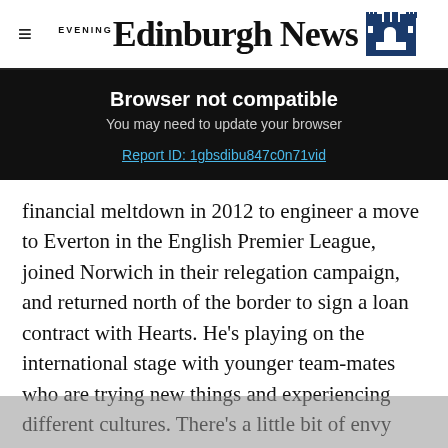Edinburgh Evening News
Browser not compatible
You may need to update your browser
Report ID: 1gbsdibu847c0n71vid
financial meltdown in 2012 to engineer a move to Everton in the English Premier League, joined Norwich in their relegation campaign, and returned north of the border to sign a loan contract with Hearts. He's playing on the international stage with younger team-mates who are trying new things and experiencing different cultures. There's a little bit of envy